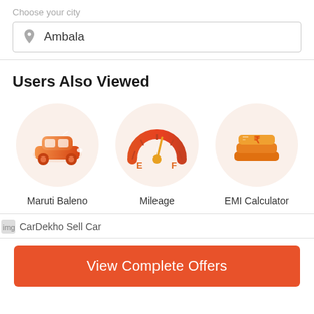Choose your city
Ambala
Users Also Viewed
[Figure (illustration): Orange car icon inside a light peach circle — Maruti Baleno]
Maruti Baleno
[Figure (illustration): Orange fuel gauge icon with E and F labels inside a light peach circle — Mileage]
Mileage
[Figure (illustration): Orange money/wallet icon with rupee symbol inside a light peach circle — EMI Calculator]
EMI Calculator
CarDekho Sell Car
View Complete Offers